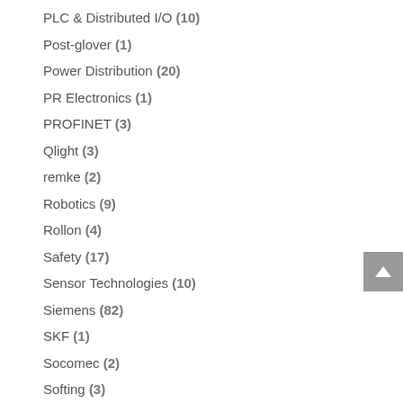PLC & Distributed I/O (10)
Post-glover (1)
Power Distribution (20)
PR Electronics (1)
PROFINET (3)
Qlight (3)
remke (2)
Robotics (9)
Rollon (4)
Safety (17)
Sensor Technologies (10)
Siemens (82)
SKF (1)
Socomec (2)
Softing (3)
Springer (1)
SyTech (2)